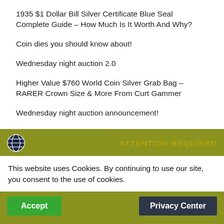1935 $1 Dollar Bill Silver Certificate Blue Seal Complete Guide – How Much Is It Worth And Why?
Coin dies you should know about!
Wednesday night auction 2.0
Higher Value $760 World Coin Silver Grab Bag – RARER Crown Size & More From Curt Gammer
Wednesday night auction announcement!
ATTENTION REQUIRED
This website uses Cookies. By continuing to use our site, you consent to the use of cookies.
Accept
Privacy Center